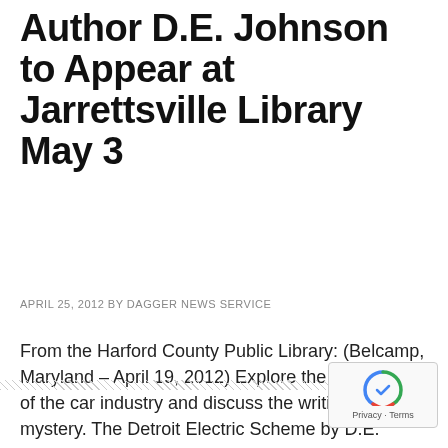Author D.E. Johnson to Appear at Jarrettsville Library May 3
APRIL 25, 2012 BY DAGGER NEWS SERVICE
From the Harford County Public Library: (Belcamp, Maryland – April 19, 2012) Explore the beginnings of the car industry and discuss the writing of a mystery. The Detroit Electric Scheme by D.E. Johnson, takes you on a journey through turn-of-the-century Detroit and a look into the launch of the automotive industry. A mystery interwoven with [...]